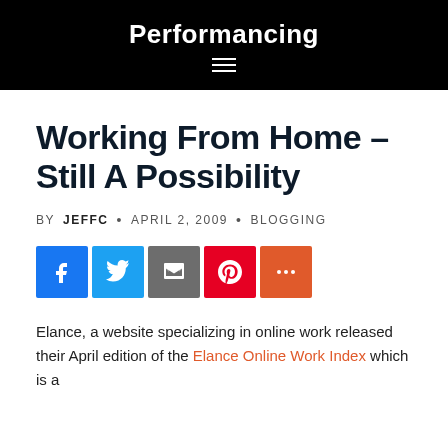Performancing
Working From Home – Still A Possibility
BY JEFFC · APRIL 2, 2009 · BLOGGING
[Figure (infographic): Social share icons: Facebook (blue), Twitter (light blue), Email/share (grey), Pinterest (red), More (orange-red)]
Elance, a website specializing in online work released their April edition of the Elance Online Work Index which is a